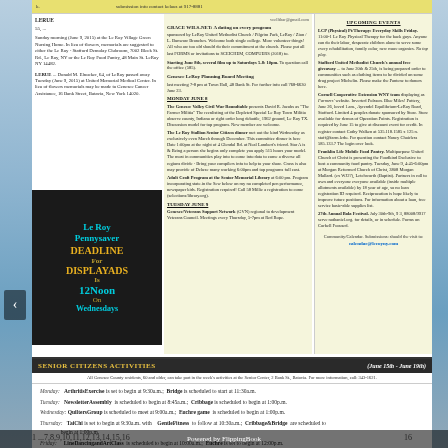Le Roy Pennysaver community newspaper page
LERUE... funeral notices and memorials
[Figure (other): Le Roy Pennysaver advertisement: DEADLINE For DISPLAY ADS Is 12Noon On Wednesdays]
Middle column community events and announcements including GRACE WILS-NET, Genesee Valley Civil War Roundtable, Le Roy Stallion Senior Citizen dinner, Adult Craft Program
Right column: UPCOMING EVENTS including LCP Physical Therapy, Stafford United Methodist Church free giveaway, Cornell Cooperative Extension WNY team, Franklin Life Mobile Food Pantry, 27th Annual Bola Festival
SENIOR CITIZENS ACTIVITIES (June 15th - June 19th)
All Genesee County residents, 60 and older, can take part in the week's activities at the Senior Center, 2 Bank St., Batavia.
Monday: ArthritisExercise is set to begin at 9:30a.m.; Bridge is scheduled to start at 11:30a.m.
Tuesday: NewsletterAssembly is scheduled to begin at 8:45a.m.; Cribbage is scheduled to begin at 1:00p.m.
Wednesday: QuiltersGroup is scheduled to meet at 9:00a.m.; Euchre game is scheduled to begin at 1:00p.m.
Thursday: TaiChi is set to begin at 9:30a.m. with GentleFitness to follow at 10:30a.m.; Cribbage&Bridge are scheduled to begin at 1:00p.m.
Friday: LineDancingandArtClass is scheduled to begin at 10:00a.m.; Euchre is set to begin at 12:00p.m.
1 ... 7,8,9,10,11,12,13,14,15,16
Powered by FlippingBook